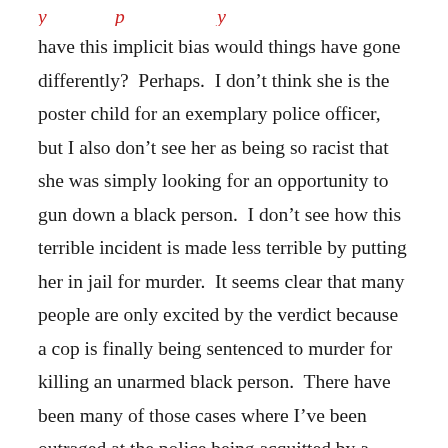y p y
have this implicit bias would things have gone differently?  Perhaps.  I don't think she is the poster child for an exemplary police officer, but I also don't see her as being so racist that she was simply looking for an opportunity to gun down a black person.  I don't see how this terrible incident is made less terrible by putting her in jail for murder.  It seems clear that many people are only excited by the verdict because a cop is finally being sentenced to murder for killing an unarmed black person.  There have been many of those cases where I've been outraged at the police being acquitted by a grand jury.  I don't think this is case to make up for all those other cases that should have been ruled differently?  I don't think the law should work like that.  I feel like we aren't setting a precedent for cops